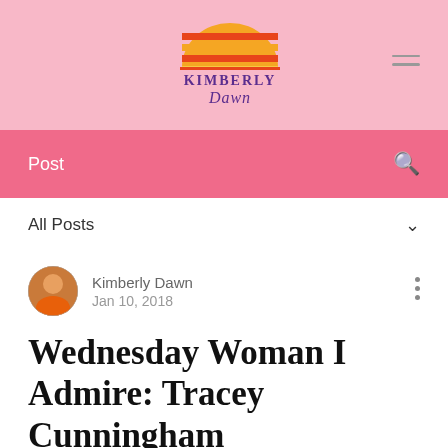[Figure (logo): Kimberly Dawn logo with stylized sunset graphic and purple cursive text]
Post
All Posts
Kimberly Dawn
Jan 10, 2018
Wednesday Woman I Admire: Tracey Cunningham
There is so much to say about this beautiful woman. She is warm, sweet and truly a light in my life, and not just